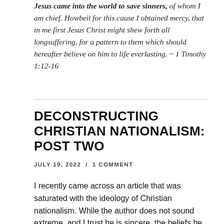Jesus came into the world to save sinners, of whom I am chief. Howbeit for this cause I obtained mercy, that in me first Jesus Christ might shew forth all longsuffering, for a pattern to them which should hereafter believe on him to life everlasting. ~ 1 Timothy 1:12-16
DECONSTRUCTING CHRISTIAN NATIONALISM: POST TWO
JULY 19, 2022 / 1 COMMENT
I recently came across an article that was saturated with the ideology of Christian nationalism. While the author does not sound extreme, and I trust he is sincere, the beliefs he espouses are rampant within Christian